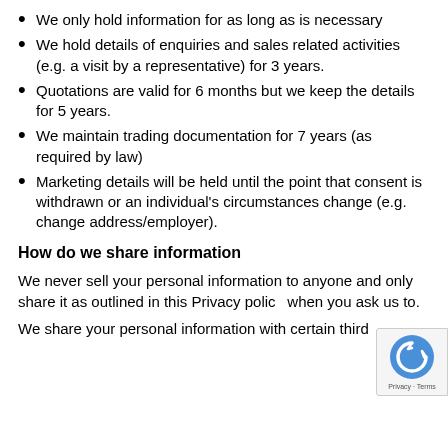We only hold information for as long as is necessary
We hold details of enquiries and sales related activities (e.g. a visit by a representative) for 3 years.
Quotations are valid for 6 months but we keep the details for 5 years.
We maintain trading documentation for 7 years (as required by law)
Marketing details will be held until the point that consent is withdrawn or an individual's circumstances change (e.g. change address/employer).
How do we share information
We never sell your personal information to anyone and only share it as outlined in this Privacy policy when you ask us to.
We share your personal information with certain third